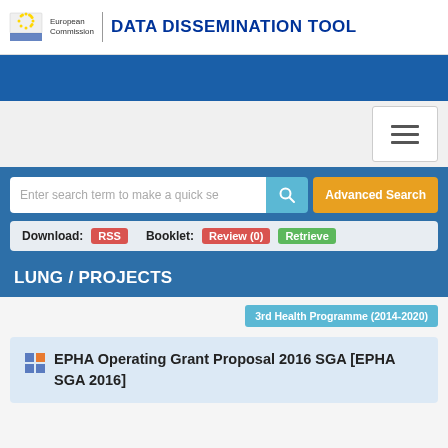European Commission | DATA DISSEMINATION TOOL
[Figure (screenshot): Blue navigation banner]
[Figure (screenshot): Hamburger navigation menu button]
Enter search term to make a quick search
Advanced Search
Download: RSS   Booklet: Review (0)   Retrieve
LUNG / PROJECTS
3rd Health Programme (2014-2020)
EPHA Operating Grant Proposal 2016 SGA [EPHA SGA 2016]